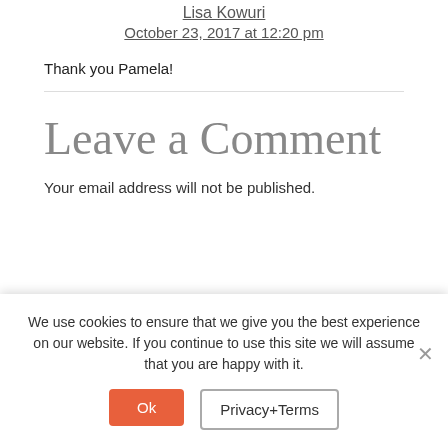Lisa Kowuri
October 23, 2017 at 12:20 pm
Thank you Pamela!
Leave a Comment
Your email address will not be published.
We use cookies to ensure that we give you the best experience on our website. If you continue to use this site we will assume that you are happy with it.
Ok
Privacy+Terms